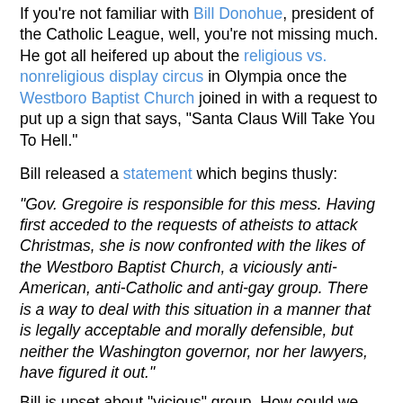If you're not familiar with Bill Donohue, president of the Catholic League, well, you're not missing much. He got all heifered up about the religious vs. nonreligious display circus in Olympia once the Westboro Baptist Church joined in with a request to put up a sign that says, "Santa Claus Will Take You To Hell."
Bill released a statement which begins thusly:
"Gov. Gregoire is responsible for this mess. Having first acceded to the requests of atheists to attack Christmas, she is now confronted with the likes of the Westboro Baptist Church, a viciously anti-American, anti-Catholic and anti-gay group. There is a way to deal with this situation in a manner that is legally acceptable and morally defensible, but neither the Washington governor, nor her lawyers, have figured it out."
Bill is upset about "vicious" group. How could we tolerate such hateful people? Let's have another look at what Westboro Baptist Church is "anti-".